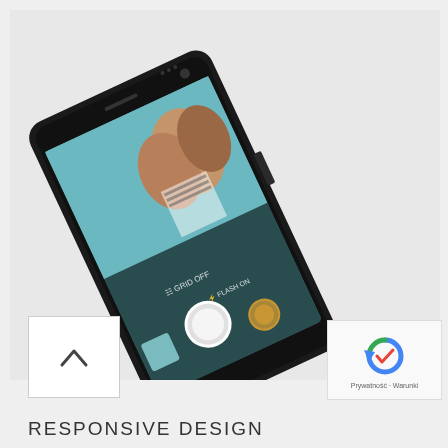[Figure (photo): A black Android smartphone displayed at an angle, showing a camera app UI with a selfie of three young women. The phone is lying flat on a light grey surface. The screen shows camera controls including a shutter button, flash on indicator, and grid off option.]
[Figure (other): Small reCAPTCHA logo badge in bottom right corner with text 'Prywatnosc - Warunki' below it]
[Figure (other): White square button with an upward-pointing chevron arrow in bottom left area]
RESPONSIVE DESIGN